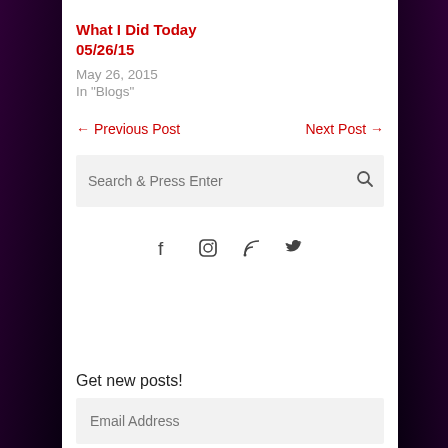What I Did Today 05/26/15
May 26, 2015
In "Blogs"
← Previous Post    Next Post →
[Figure (other): Search bar with placeholder text 'Search & Press Enter' and a magnifying glass icon]
[Figure (other): Social media icons: Facebook, Instagram, RSS, Twitter]
Get new posts!
[Figure (other): Email address input field with placeholder 'Email Address']